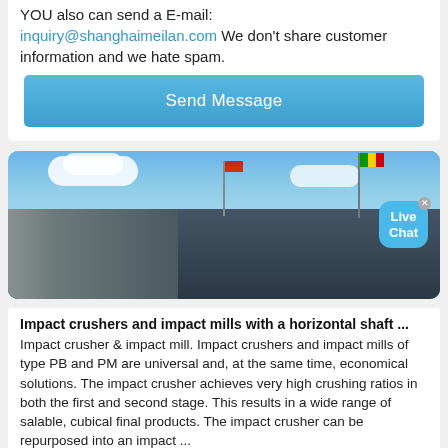YOU also can send a E-mail: inquiry@shanghaimeilan.com We don't share customer information and we hate spam.
Send Message
[Figure (photo): Industrial machinery/crusher equipment on-site with colorful flags, blue sky with clouds, and a Live Chat bubble overlay in the top right corner.]
Impact crushers and impact mills with a horizontal shaft ...
Impact crusher & impact mill. Impact crushers and impact mills of type PB and PM are universal and, at the same time, economical solutions. The impact crusher achieves very high crushing ratios in both the first and second stage. This results in a wide range of salable, cubical final products. The impact crusher can be repurposed into an impact ...
Reference, oltre 3.000 impianti nel mondo | Matec Industries
Reference - Oltre 3.000 impianti installati nel mondo nei settori: miniere, cave, inerti, lavaggio sabbie, selezione e frantumazione. Vieni a scoprirli adesso!